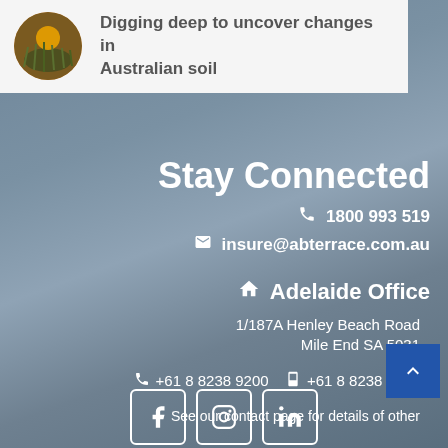[Figure (photo): Circular avatar thumbnail showing a sunset over grass/reeds]
Digging deep to uncover changes in Australian soil
Stay Connected
📞 1800 993 519
✉ insure@abterrace.com.au
🏠 Adelaide Office
1/187A Henley Beach Road
Mile End SA 5031
+61 8 8238 9200  +61 8 8238 9299
See our contact page for details of other
[Figure (infographic): Social media icons: Facebook, Instagram, LinkedIn in white rounded-square borders]